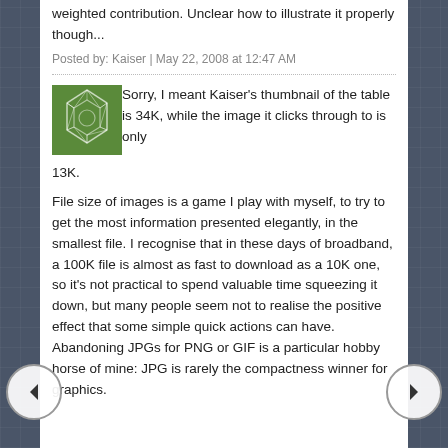weighted contribution. Unclear how to illustrate it properly though...
Posted by: Kaiser | May 22, 2008 at 12:47 AM
[Figure (illustration): Green avatar/profile icon with abstract geometric pattern resembling a soccer ball or leaf design]
Sorry, I meant Kaiser's thumbnail of the table is 34K, while the image it clicks through to is only 13K.
File size of images is a game I play with myself, to try to get the most information presented elegantly, in the smallest file. I recognise that in these days of broadband, a 100K file is almost as fast to download as a 10K one, so it's not practical to spend valuable time squeezing it down, but many people seem not to realise the positive effect that some simple quick actions can have. Abandoning JPGs for PNG or GIF is a particular hobby horse of mine: JPG is rarely the compactness winner for graphics.